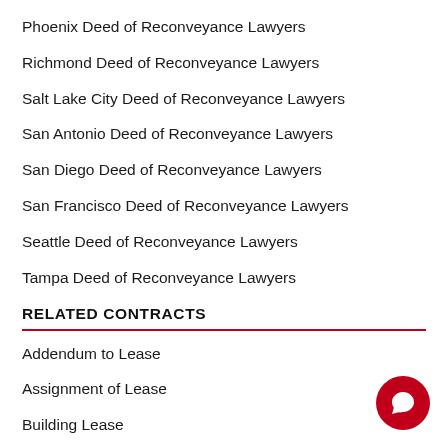Phoenix Deed of Reconveyance Lawyers
Richmond Deed of Reconveyance Lawyers
Salt Lake City Deed of Reconveyance Lawyers
San Antonio Deed of Reconveyance Lawyers
San Diego Deed of Reconveyance Lawyers
San Francisco Deed of Reconveyance Lawyers
Seattle Deed of Reconveyance Lawyers
Tampa Deed of Reconveyance Lawyers
RELATED CONTRACTS
Addendum to Lease
Assignment of Lease
Building Lease
Buyer Agency Agreement